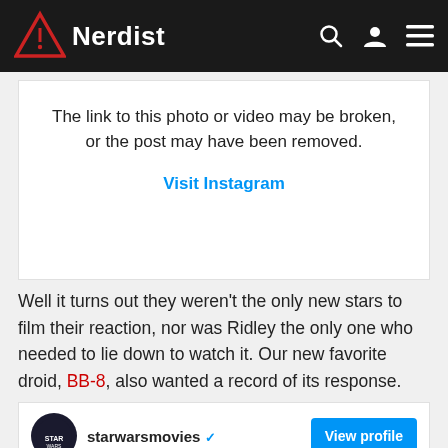Nerdist
[Figure (screenshot): Instagram embed placeholder showing broken link message with 'The link to this photo or video may be broken, or the post may have been removed.' and a 'Visit Instagram' link]
Well it turns out they weren't the only new stars to film their reaction, nor was Ridley the only one who needed to lie down to watch it. Our new favorite droid, BB-8, also wanted a record of its response.
[Figure (screenshot): Instagram embed from starwarsmovies account with View profile button]